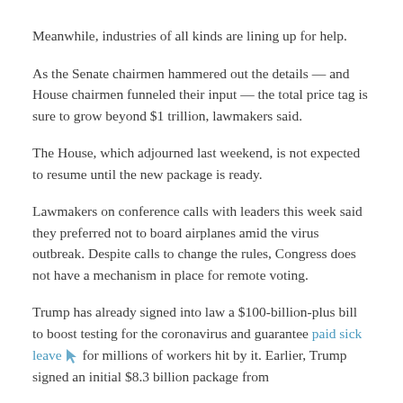Meanwhile, industries of all kinds are lining up for help.
As the Senate chairmen hammered out the details — and House chairmen funneled their input — the total price tag is sure to grow beyond $1 trillion, lawmakers said.
The House, which adjourned last weekend, is not expected to resume until the new package is ready.
Lawmakers on conference calls with leaders this week said they preferred not to board airplanes amid the virus outbreak. Despite calls to change the rules, Congress does not have a mechanism in place for remote voting.
Trump has already signed into law a $100-billion-plus bill to boost testing for the coronavirus and guarantee paid sick leave for millions of workers hit by it. Earlier, Trump signed an initial $8.3 billion package from